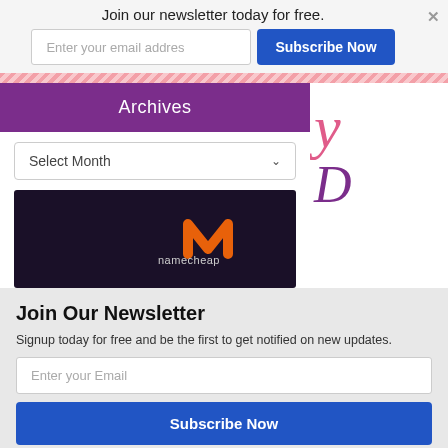Join our newsletter today for free.
Enter your email addres
Subscribe Now
Archives
Select Month
[Figure (logo): Namecheap logo on dark background]
Join Our Newsletter
Signup today for free and be the first to get notified on new updates.
Enter your Email
Subscribe Now